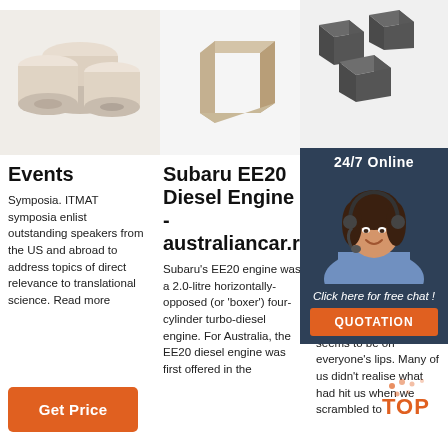[Figure (photo): Three cream-colored cylindrical rolls/tape products on light background]
[Figure (photo): Single beige rectangular block on light background]
[Figure (photo): Several dark gray/charcoal cubes on light background]
Events
Symposia. ITMAT symposia enlist outstanding speakers from the US and abroad to address topics of direct relevance to translational science. Read more
[Figure (other): Get Price orange button]
Subaru EE20 Diesel Engine - australiancar.reviews
Subaru's EE20 engine was a 2.0-litre horizontally-opposed (or 'boxer') four-cylinder turbo-diesel engine. For Australia, the EE20 diesel engine was first offered in the
Feeli... zomb... Journ...
2021-0... 18u20... than a... half int... COVID... pande... seems to be on everyone's lips. Many of us didn't realise what had hit us when we scrambled to
[Figure (photo): 24/7 Online chat agent - woman with headset, with Click here for free chat and QUOTATION button overlay panel]